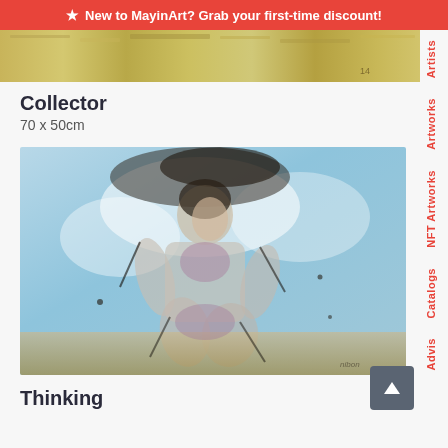★ New to MayinArt? Grab your first-time discount!
[Figure (photo): Horizontal strip showing the top portion of an artwork with yellows/golds]
Collector
70 x 50cm
[Figure (photo): Painting of a seated figure with blue and white abstract background, expressionist style artwork titled 'Thinking']
Thinking